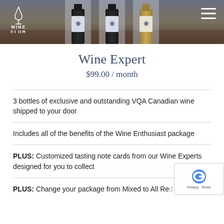[Figure (photo): Header bar with dark blue-grey background showing three wine bottles with maple leaf labels, Wood table surface visible beneath bottles]
WINE CLUB
Wine Expert
$99.00 / month
3 bottles of exclusive and outstanding VQA Canadian wine shipped to your door
Includes all of the benefits of the Wine Enthusiast package
PLUS: Customized tasting note cards from our Wine Experts designed for you to collect
PLUS: Change your package from Mixed to All Red